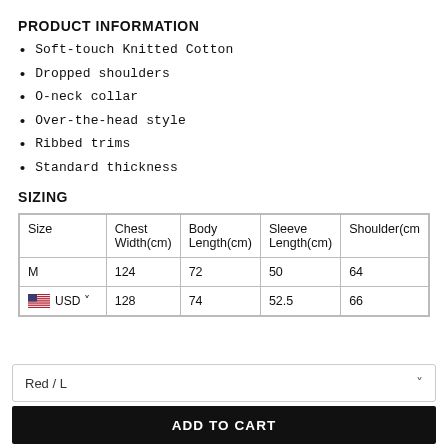PRODUCT INFORMATION
Soft-touch Knitted Cotton
Dropped shoulders
O-neck collar
Over-the-head style
Ribbed trims
Standard thickness
SIZING
| Size | Chest Width(cm) | Body Length(cm) | Sleeve Length(cm) | Shoulder(cm) |
| --- | --- | --- | --- | --- |
| M | 124 | 72 | 50 | 64 |
| 🇺🇸 USD ▾ | 128 | 74 | 52.5 | 66 |
Red / L
ADD TO CART